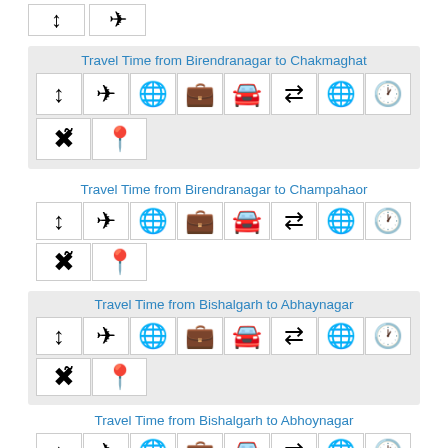[Figure (other): Two icon cells (up-down arrow, airplane) as top stub row]
Travel Time from Birendranagar to Chakmaghat
[Figure (infographic): Grid of travel icons: distance, airplane, globe, luggage, car, transfer arrows, world, clock, person with clock, pin]
Travel Time from Birendranagar to Champahaor
[Figure (infographic): Grid of travel icons: distance, airplane, globe, luggage, car, transfer arrows, world, clock, person with clock, pin]
Travel Time from Bishalgarh to Abhaynagar
[Figure (infographic): Grid of travel icons: distance, airplane, globe, luggage, car, transfer arrows, world, clock, person with clock, pin]
Travel Time from Bishalgarh to Abhoynagar
[Figure (infographic): Grid of travel icons: distance, airplane, globe, luggage, car, transfer arrows, world, clock]